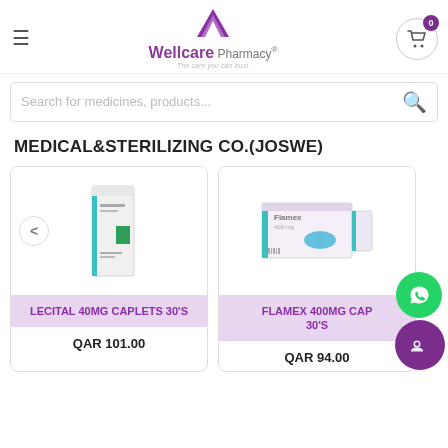[Figure (logo): Wellcare Pharmacy logo with purple W icon and text]
Search for medicines, products...
MEDICAL&STERILIZING CO.(JOSWE)
[Figure (photo): LECITAL 40MG CAPLETS 30'S product box]
LECITAL 40MG CAPLETS 30'S
QAR 101.00
[Figure (photo): FLAMEX 400MG CAPSULES 30'S product box]
FLAMEX 400MG CAPS 30'S
QAR 94.00